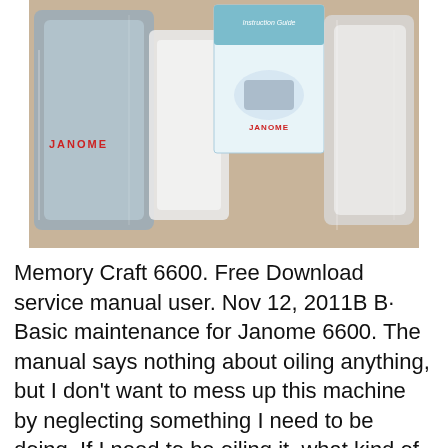[Figure (photo): Photo of Janome sewing machine parts in plastic bags and an instruction book on a beige fabric surface. The JANOME logo is visible in red on one of the items.]
Memory Craft 6600. Free Download service manual user. Nov 12, 2011B B· Basic maintenance for Janome 6600. The manual says nothing about oiling anything, but I don't want to mess up this machine by neglecting something I need to be doing. If I need to be oiling it, what kind of oil do I use? Is there anything else that I am missing? Reply. 11-11-2011, 05:40 PM, Janome Memory Craft 5200 Instruction Manual. IMPORTANT SAFETY INSTRUCTIONS This